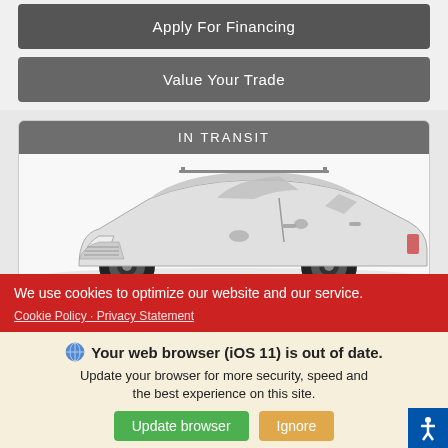Apply For Financing
Value Your Trade
IN TRANSIT
[Figure (photo): White Toyota RAV4 SUV shown from side angle, in transit vehicle listing]
We use cookies to optimize our website and our service.
Cookie Policy   Privacy Statement
Your web browser (iOS 11) is out of date. Update your browser for more security, speed and the best experience on this site.
Update browser
Ignore